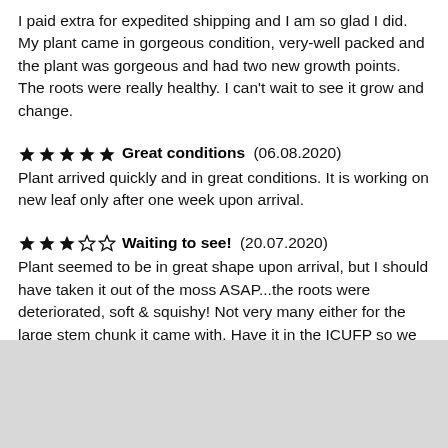I paid extra for expedited shipping and I am so glad I did. My plant came in gorgeous condition, very-well packed and the plant was gorgeous and had two new growth points. The roots were really healthy. I can't wait to see it grow and change.
★★★★★ Great conditions (06.08.2020)
Plant arrived quickly and in great conditions. It is working on new leaf only after one week upon arrival.
★★★☆☆ Waiting to see! (20.07.2020)
Plant seemed to be in great shape upon arrival, but I should have taken it out of the moss ASAP...the roots were deteriorated, soft & squishy! Not very many either for the large stem chunk it came with. Have it in the ICUFP so we shall see!